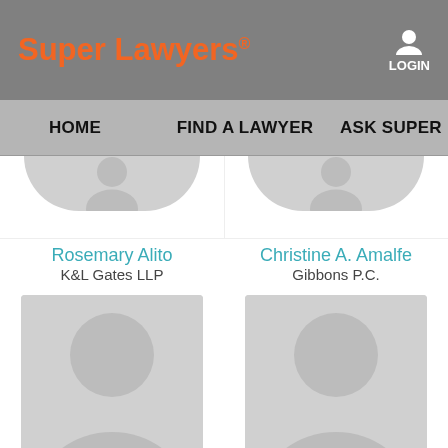Super Lawyers® | LOGIN
HOME | FIND A LAWYER | ASK SUPER L…
[Figure (photo): Partial placeholder avatar photo for Rosemary Alito (cropped at top)]
Rosemary Alito
K&L Gates LLP
[Figure (photo): Partial placeholder avatar photo for Christine A. Amalfe (cropped at top)]
Christine A. Amalfe
Gibbons P.C.
[Figure (photo): Full placeholder avatar photo for Lynne Anne Anderson]
Lynne Anne Anderson
[Figure (photo): Full placeholder avatar photo for Patricia M. Barbarito]
Patricia M. Barbarito